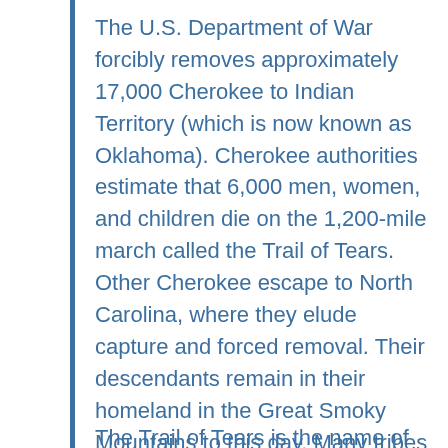The U.S. Department of War forcibly removes approximately 17,000 Cherokee to Indian Territory (which is now known as Oklahoma). Cherokee authorities estimate that 6,000 men, women, and children die on the 1,200-mile march called the Trail of Tears. Other Cherokee escape to North Carolina, where they elude capture and forced removal. Their descendants remain in their homeland in the Great Smoky Mountains to this day. Many tribes in the Southeast, the Northeast, and Great Plains have their own trails of tears.
The Trail of Tears is the name of the